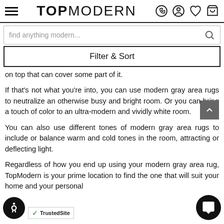TOPMODERN — navigation header with hamburger menu, logo, phone, account, wishlist, cart icons
[Figure (screenshot): Search bar with placeholder text 'find anything modern...' and search icon]
[Figure (screenshot): Filter & Sort button]
on top that can cover some part of it.
If that's not what you're into, you can use modern gray area rugs to neutralize an otherwise busy and bright room. Or you can bring a touch of color to an ultra-modern and vividly white room.
You can also use different tones of modern gray area rugs to include or balance warm and cold tones in the room, attracting or deflecting light.
Regardless of how you end up using your modern gray area rug, TopModern is your prime location to find the one that will suit your home and your personal
[Figure (screenshot): TrustedSite badge at bottom left]
[Figure (screenshot): Accessibility icon button (person with circle) bottom left]
[Figure (screenshot): Chat button (speech bubble) bottom right]
[Figure (screenshot): Scroll to top button (upward chevron) gray square]